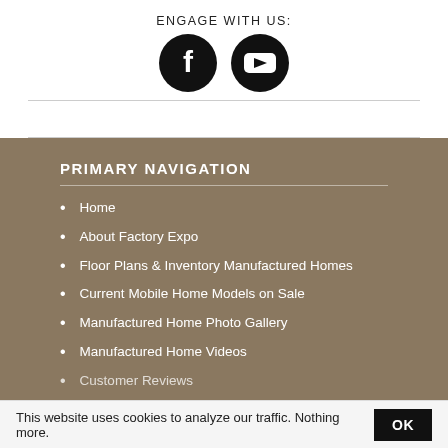ENGAGE WITH US:
[Figure (illustration): Two circular social media icons: Facebook (f logo) and YouTube (play button logo), both black circles with white icons.]
PRIMARY NAVIGATION
Home
About Factory Expo
Floor Plans & Inventory Manufactured Homes
Current Mobile Home Models on Sale
Manufactured Home Photo Gallery
Manufactured Home Videos
Customer Reviews
This website uses cookies to analyze our traffic. Nothing more.  OK